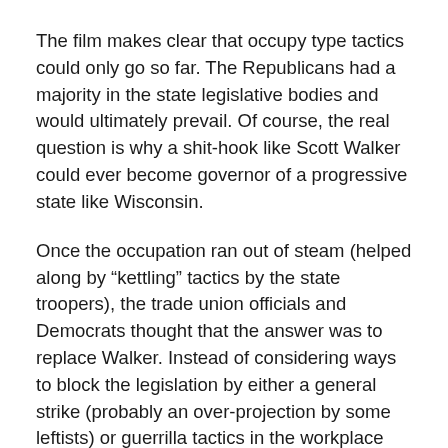The film makes clear that occupy type tactics could only go so far. The Republicans had a majority in the state legislative bodies and would ultimately prevail. Of course, the real question is why a shit-hook like Scott Walker could ever become governor of a progressive state like Wisconsin.
Once the occupation ran out of steam (helped along by “kettling” tactics by the state troopers), the trade union officials and Democrats thought that the answer was to replace Walker. Instead of considering ways to block the legislation by either a general strike (probably an over-projection by some leftists) or guerrilla tactics in the workplace like “sick-outs” or working by the rule, all the energy went into the recall campaign.
But the recall was to no avail. Walker was reelected. Why?